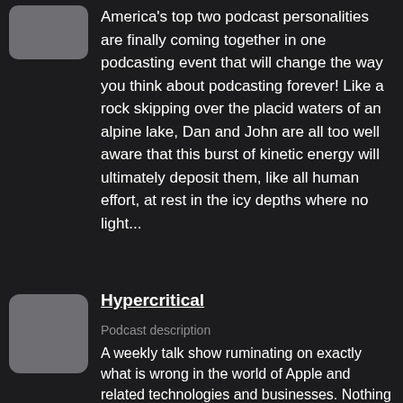[Figure (other): Partially visible podcast thumbnail image (gray placeholder) at top-left]
America's top two podcast personalities are finally coming together in one podcasting event that will change the way you think about podcasting forever! Like a rock skipping over the placid waters of an alpine lake, Dan and John are all too well aware that this burst of kinetic energy will ultimately deposit them, like all human effort, at rest in the icy depths where no light...
[Figure (other): Podcast thumbnail image (gray placeholder square with rounded corners) for Hypercritical]
Hypercritical
Podcast description
A weekly talk show ruminating on exactly what is wrong in the world of Apple and related technologies and businesses. Nothing is so perfect that it can't be complained about. Hosted by John Siracusa & Dan Benjamin.